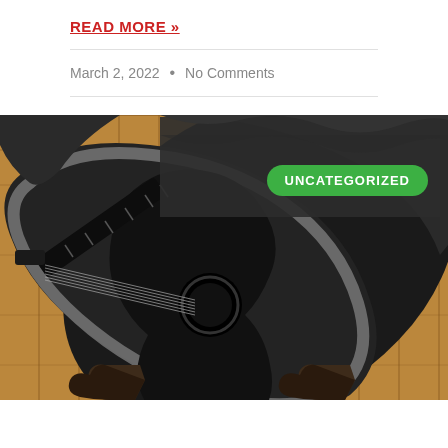READ MORE »
March 2, 2022  •  No Comments
[Figure (photo): A black acoustic guitar inside an open black guitar case with grey padding, lying on a hardwood floor. A pair of boots is visible at the bottom of the image. An 'UNCATEGORIZED' badge in green is overlaid on the upper right of the image.]